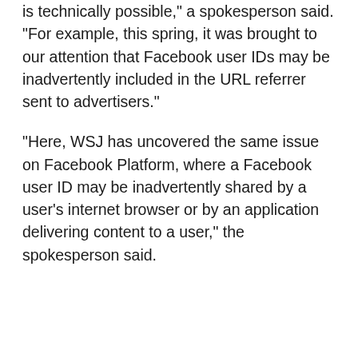is technically possible," a spokesperson said. "For example, this spring, it was brought to our attention that Facebook user IDs may be inadvertently included in the URL referrer sent to advertisers."
"Here, WSJ has uncovered the same issue on Facebook Platform, where a Facebook user ID may be inadvertently shared by a user’s internet browser or by an application delivering content to a user," the spokesperson said.